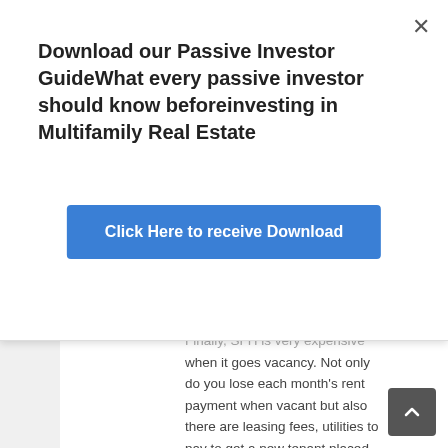Download our Passive Investor GuideWhat every passive investor should know beforeinvesting in Multifamily Real Estate
[Figure (other): Blue button labeled 'Click Here to receive Download']
Finally, SFH is very expensive when it goes vacancy. Not only do you lose each month's rent payment when vacant but also there are leasing fees, utilities to pay to get a new tenant placed. This is a  real problem with SFHs that might be in area with a market downturn. Look at what happened during the great recession of 2008: SFHs suddenly had higher vacancies as